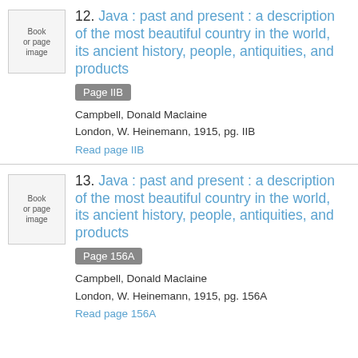[Figure (other): Book or page image thumbnail for entry 12]
12. Java : past and present : a description of the most beautiful country in the world, its ancient history, people, antiquities, and products
Page IIB
Campbell, Donald Maclaine
London, W. Heinemann, 1915, pg. IIB
Read page IIB
[Figure (other): Book or page image thumbnail for entry 13]
13. Java : past and present : a description of the most beautiful country in the world, its ancient history, people, antiquities, and products
Page 156A
Campbell, Donald Maclaine
London, W. Heinemann, 1915, pg. 156A
Read page 156A